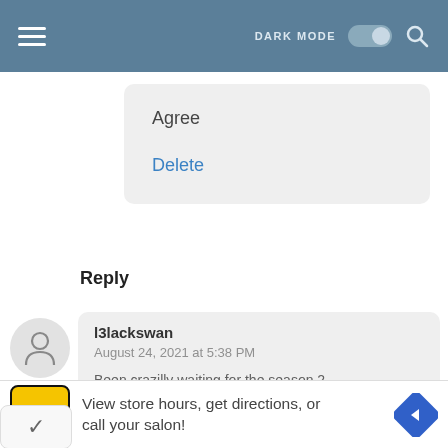DARK MODE [toggle] [search]
Agree
Delete
Reply
l3lackswan
August 24, 2021 at 5:38 PM
Been crazilly waiting for the season 2...
Hope got english subtitles all the time....
[Figure (screenshot): Ad banner: HC logo, text 'View store hours, get directions, or call your salon!']